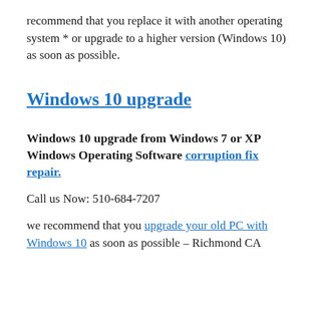recommend that you replace it with another operating system * or upgrade to a higher version (Windows 10) as soon as possible.
Windows 10 upgrade
Windows 10 upgrade from Windows 7 or XP Windows Operating Software corruption fix repair.
Call us Now: 510-684-7207
we recommend that you upgrade your old PC with Windows 10 as soon as possible – Richmond CA